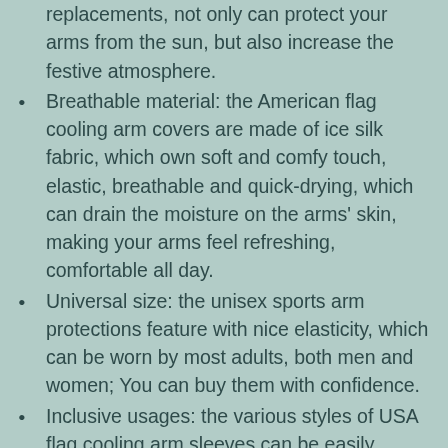replacements, not only can protect your arms from the sun, but also increase the festive atmosphere.
Breathable material: the American flag cooling arm covers are made of ice silk fabric, which own soft and comfy touch, elastic, breathable and quick-drying, which can drain the moisture on the arms' skin, making your arms feel refreshing, comfortable all day.
Universal size: the unisex sports arm protections feature with nice elasticity, which can be worn by most adults, both men and women; You can buy them with confidence.
Inclusive usages: the various styles of USA flag cooling arm sleeves can be easily matched with your clothes in daily life, and you can also wear them in some festivals such as Independence Day, Veterans Day and so on.